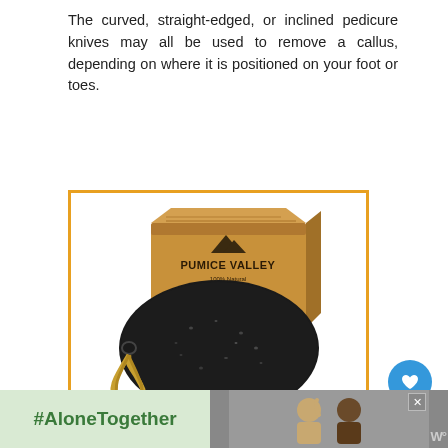The curved, straight-edged, or inclined pedicure knives may all be used to remove a callus, depending on where it is positioned on your foot or toes.
[Figure (photo): Photo of a Pumice Valley pumice stone with rope attached, shown next to its cardboard box packaging with mountain logo and '100% Natural' text]
[Figure (screenshot): Website sidebar UI showing a heart/like button (blue circle), like count '3', share button, and a 'WHAT'S NEXT' card for '17 Awesome Pedicure Ide...']
[Figure (screenshot): Bottom advertisement banner showing '#AloneTogether' text in green on light background, with image of people waving, close button X, and weather/TV logo]